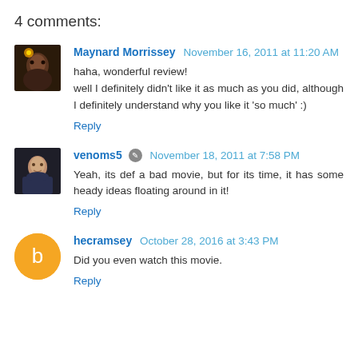4 comments:
Maynard Morrissey November 16, 2011 at 11:20 AM
haha, wonderful review!
well I definitely didn't like it as much as you did, although I definitely understand why you like it 'so much' :)
Reply
venoms5 November 18, 2011 at 7:58 PM
Yeah, its def a bad movie, but for its time, it has some heady ideas floating around in it!
Reply
hecramsey October 28, 2016 at 3:43 PM
Did you even watch this movie.
Reply